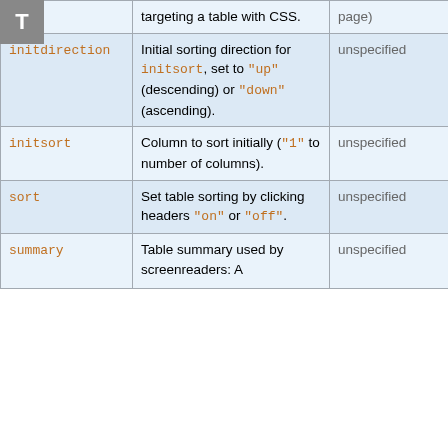| Parameter | Description | Default | Example |
| --- | --- | --- | --- |
|  | targeting a table with CSS. | page) |  |
| initdirection | Initial sorting direction for initsort, set to "up" (descending) or "down" (ascending). | unspecified | ini |
| initsort | Column to sort initially ("1" to number of columns). | unspecified | ini |
| sort | Set table sorting by clicking headers "on" or "off". | unspecified | sor |
| summary | Table summary used by screenreaders: A | unspecified | sum use |